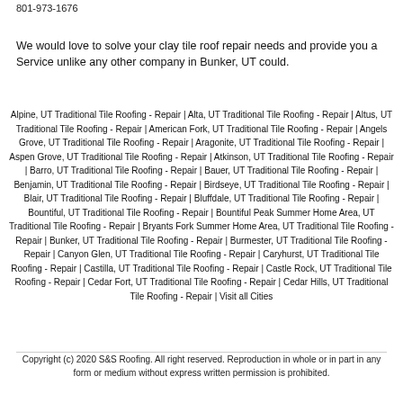801-973-1676
We would love to solve your clay tile roof repair needs and provide you a Service unlike any other company in Bunker, UT could.
Alpine, UT Traditional Tile Roofing - Repair | Alta, UT Traditional Tile Roofing - Repair | Altus, UT Traditional Tile Roofing - Repair | American Fork, UT Traditional Tile Roofing - Repair | Angels Grove, UT Traditional Tile Roofing - Repair | Aragonite, UT Traditional Tile Roofing - Repair | Aspen Grove, UT Traditional Tile Roofing - Repair | Atkinson, UT Traditional Tile Roofing - Repair | Barro, UT Traditional Tile Roofing - Repair | Bauer, UT Traditional Tile Roofing - Repair | Benjamin, UT Traditional Tile Roofing - Repair | Birdseye, UT Traditional Tile Roofing - Repair | Blair, UT Traditional Tile Roofing - Repair | Bluffdale, UT Traditional Tile Roofing - Repair | Bountiful, UT Traditional Tile Roofing - Repair | Bountiful Peak Summer Home Area, UT Traditional Tile Roofing - Repair | Bryants Fork Summer Home Area, UT Traditional Tile Roofing - Repair | Bunker, UT Traditional Tile Roofing - Repair | Burmester, UT Traditional Tile Roofing - Repair | Canyon Glen, UT Traditional Tile Roofing - Repair | Caryhurst, UT Traditional Tile Roofing - Repair | Castilla, UT Traditional Tile Roofing - Repair | Castle Rock, UT Traditional Tile Roofing - Repair | Cedar Fort, UT Traditional Tile Roofing - Repair | Cedar Hills, UT Traditional Tile Roofing - Repair | Visit all Cities
Copyright (c) 2020 S&S Roofing. All right reserved. Reproduction in whole or in part in any form or medium without express written permission is prohibited.